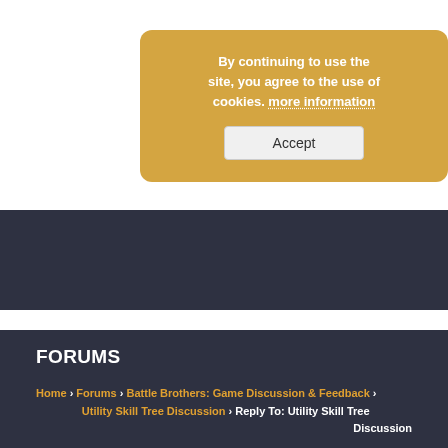By continuing to use the site, you agree to the use of cookies. more information
Accept
[Figure (other): Navigation bar with dark background and hamburger menu icon (three horizontal lines)]
FORUMS
Home › Forums › Battle Brothers: Game Discussion & Feedback › Utility Skill Tree Discussion › Reply To: Utility Skill Tree Discussion